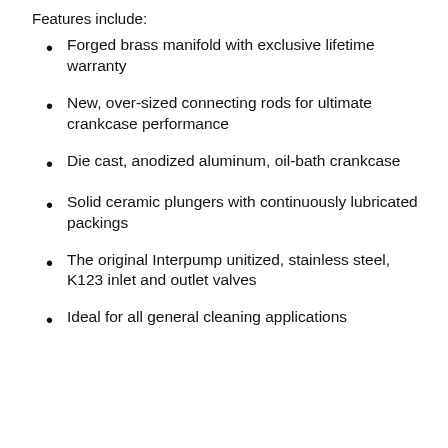Features include:
Forged brass manifold with exclusive lifetime warranty
New, over-sized connecting rods for ultimate crankcase performance
Die cast, anodized aluminum, oil-bath crankcase
Solid ceramic plungers with continuously lubricated packings
The original Interpump unitized, stainless steel, K123 inlet and outlet valves
Ideal for all general cleaning applications